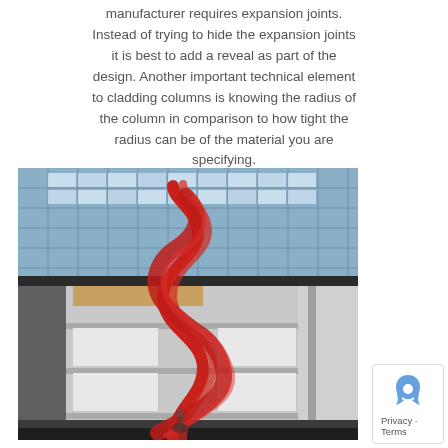manufacturer requires expansion joints. Instead of trying to hide the expansion joints it is best to add a reveal as part of the design. Another important technical element to cladding columns is knowing the radius of the column in comparison to how tight the radius can be of the material you are specifying.
[Figure (photo): Interior atrium of a modern building with a large glass skylight roof and a red ribbon-like spiral metal sculpture as a central art installation.]
Privacy · Terms